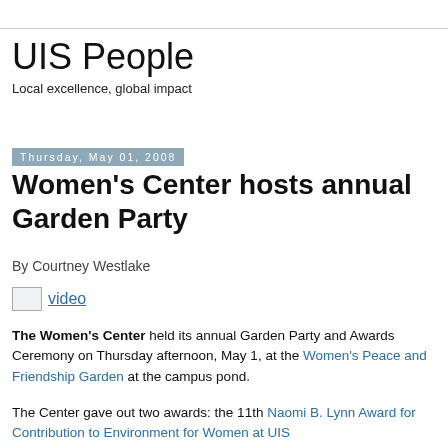UIS People
Local excellence, global impact
Thursday, May 01, 2008
Women's Center hosts annual Garden Party
By Courtney Westlake
video
The Women's Center held its annual Garden Party and Awards Ceremony on Thursday afternoon, May 1, at the Women's Peace and Friendship Garden at the campus pond.
The Center gave out two awards: the 11th Naomi B. Lynn Award for Contribution to Environment for Women at UIS